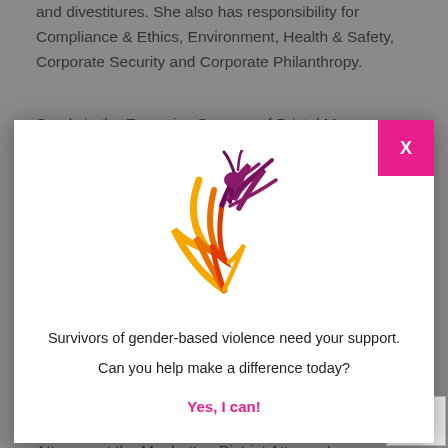and divestitures. She also has responsibility for Compliance & Ethics, Environment, Health & Safety, Corporate Security and Corporate Philanthropy.
Sandy is the Executive Sponsor of Bristol Myers
[Figure (illustration): Phoenix bird logo in purple, orange, and red colors - symbol for gender-based violence awareness organization]
Survivors of gender-based violence need your support.
Can you help make a difference today?
Yes, I can!
Interim General Counsel. In February 2007, she was named General Counsel.
Sandy began her legal career as Assistant District Attorney at the Manhattan District Attorney's